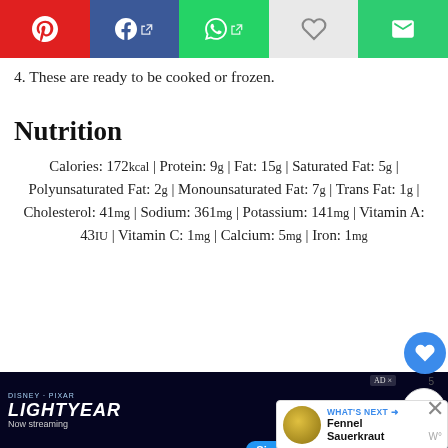[Figure (screenshot): Social sharing toolbar with Pinterest (red), Facebook (blue), WhatsApp (green), heart/save, and email (green) buttons]
4. These are ready to be cooked or frozen.
Nutrition
Calories: 172kcal | Protein: 9g | Fat: 15g | Saturated Fat: 5g | Polyunsaturated Fat: 2g | Monounsaturated Fat: 7g | Trans Fat: 1g | Cholesterol: 41mg | Sodium: 361mg | Potassium: 141mg | Vitamin A: 43IU | Vitamin C: 1mg | Calcium: 5mg | Iron: 1mg
[Figure (logo): Instagram logo icon (purple/magenta rounded square with circle)]
Tried this Recipe? Tag me